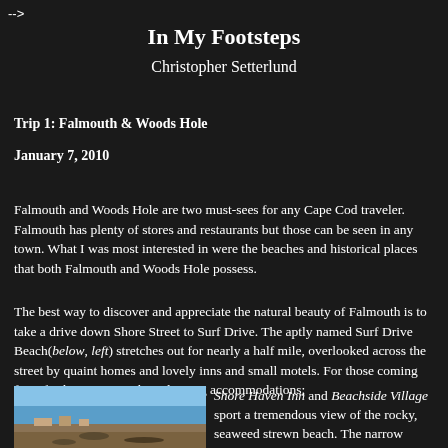-->
In My Footsteps
Christopher Setterlund
Trip 1: Falmouth & Woods Hole
January 7, 2010
Falmouth and Woods Hole are two must-sees for any Cape Cod traveler. Falmouth has plenty of stores and restaurants but those can be seen in any town. What I was most interested in were the beaches and historical places that both Falmouth and Woods Hole possess.
The best way to discover and appreciate the natural beauty of Falmouth is to take a drive down Shore Street to Surf Drive. The aptly named Surf Drive Beach(below, left) stretches out for nearly a half mile, overlooked across the street by quaint homes and lovely inns and small motels. For those coming from further away needing sleeping accommodations;
[Figure (photo): Photo of Surf Drive Beach showing a rocky, seaweed strewn beach with blue sky]
Shore Haven Inn and Beachside Village sport a tremendous view of the rocky, seaweed strewn beach. The narrow Fresh River empties out into Vineyard